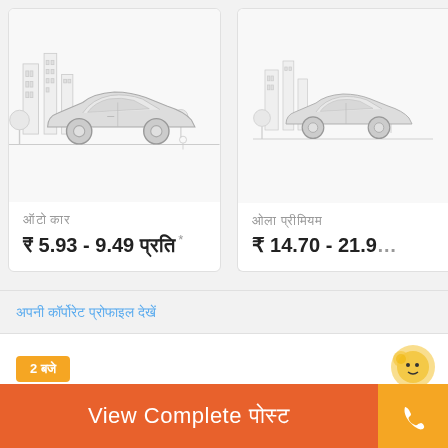[Figure (illustration): Card showing a sedan car illustration with city skyline background in light gray. Title in Hindi script, price range ₹5.93 - 9.49 with Hindi text and asterisk.]
[Figure (illustration): Partial card showing a sedan car illustration with city skyline background in light gray. Title in Hindi script, partial price ₹14.70 - 21.9... visible.]
अपनी कॉर्पोरेट प्रोफाइल देखें
2 बजे
कार्पोरेट प्रोफाइल :- Corporate कार के to
View Complete पोस्ट